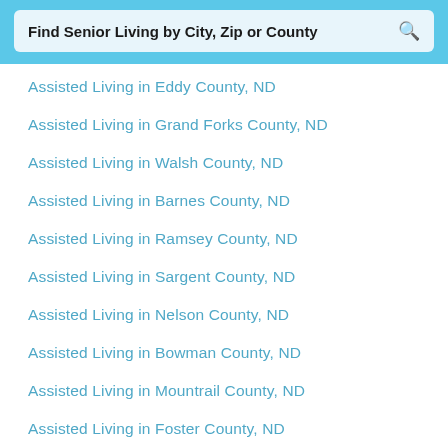Find Senior Living by City, Zip or County
Assisted Living in Eddy County, ND
Assisted Living in Grand Forks County, ND
Assisted Living in Walsh County, ND
Assisted Living in Barnes County, ND
Assisted Living in Ramsey County, ND
Assisted Living in Sargent County, ND
Assisted Living in Nelson County, ND
Assisted Living in Bowman County, ND
Assisted Living in Mountrail County, ND
Assisted Living in Foster County, ND
Assisted Living in Mercer County, ND